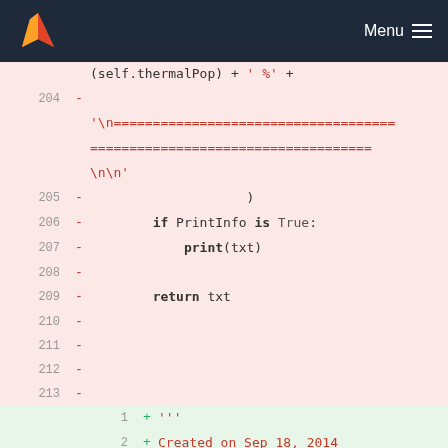Menu
[Figure (screenshot): GitLab-style code diff viewer showing deleted lines 204-213 (pink background) and added lines 1-6 (green background). Deleted section shows Python code including a string with '\n===...' and return statement. Added section shows file header with creation date Sep 18, 2014 and author Seyed Iman Mirzaei.]